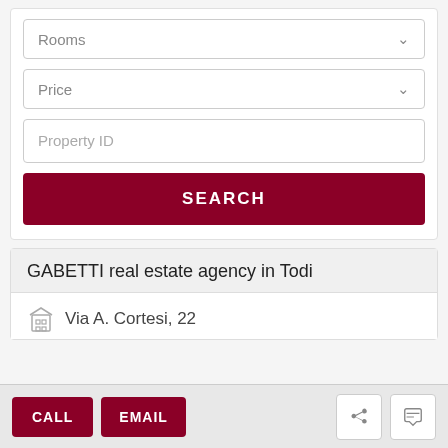Rooms
Price
Property ID
SEARCH
GABETTI real estate agency in Todi
Via A. Cortesi, 22
CALL
EMAIL